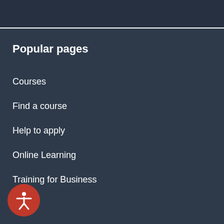Popular pages
Courses
Find a course
Help to apply
Online Learning
Training for Business
News
Commercial Salons